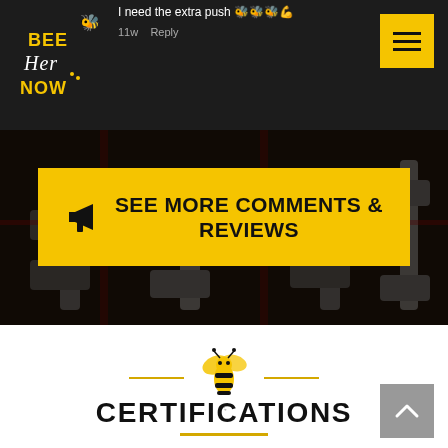[Figure (screenshot): Top dark header bar with partial comment text 'I need the extra push' with emojis, timestamp '11w' and 'Reply' link]
[Figure (logo): Bee Her Now logo - yellow bee with text BEE HER NOW in black and yellow]
[Figure (other): Hamburger menu button - yellow square with three horizontal black lines]
I need the extra push 🐝🐝🐝💪
11w   Reply
[Figure (photo): Dark background image of gym equipment (weights/barbells) with dark overlay]
📣  SEE MORE COMMENTS & REVIEWS
[Figure (illustration): Bee Her Now decorative bee divider with horizontal gold lines on either side of a flying bee illustration]
CERTIFICATIONS
[Figure (other): Back to top button - grey square with upward chevron arrow]